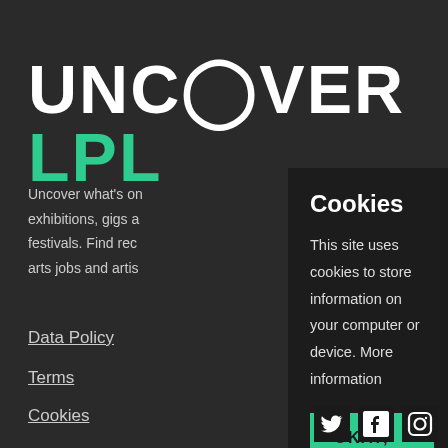UNCOVER LPL
Uncover what's on exhibitions, gigs a festivals. Find rec arts jobs and artis
Data Policy
Terms
Cookies
Cookies
This site uses cookies to store information on your computer or device. More information
OKAY, THANKS
[Figure (illustration): Social media icons: Twitter (bird), Facebook (f), Instagram (camera) in white on dark background]